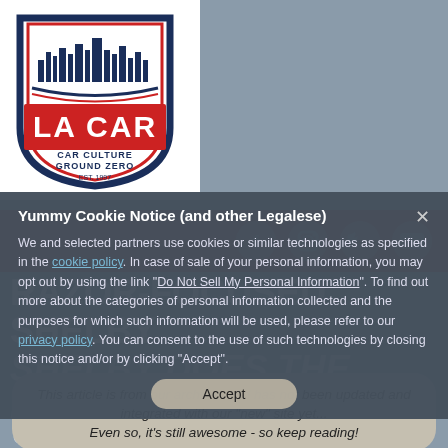[Figure (logo): LA CAR shield logo with city skyline, red banner with LA CAR text, Car Culture Ground Zero tagline, navy and red colors]
[Figure (infographic): Red social media bar with Facebook, Instagram, Twitter, and YouTube icons in grey]
RAZOR-FOCUSED SHELBY
SHELBY DOES THE FORD FOCUS ST
Yummy Cookie Notice (and other Legalese)
We and selected partners use cookies or similar technologies as specified in the cookie policy. In case of sale of your personal information, you may opt out by using the link "Do Not Sell My Personal Information". To find out more about the categories of personal information collected and the purposes for which such information will be used, please refer to our privacy policy. You can consent to the use of such technologies by closing this notice and/or by clicking "Accept".
This article is from our archives and has not been updated and integrated with our "new" site yet... Even so, it's still awesome - so keep reading!